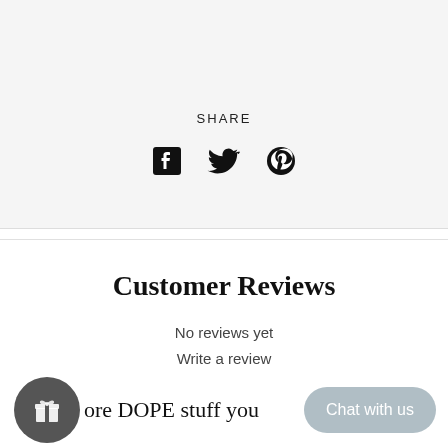SHARE
[Figure (illustration): Social sharing icons: Facebook, Twitter, Pinterest]
Customer Reviews
No reviews yet
Write a review
ore DOPE stuff you
[Figure (illustration): Gift/loyalty button icon (dark circle with gift box icon)]
Chat with us